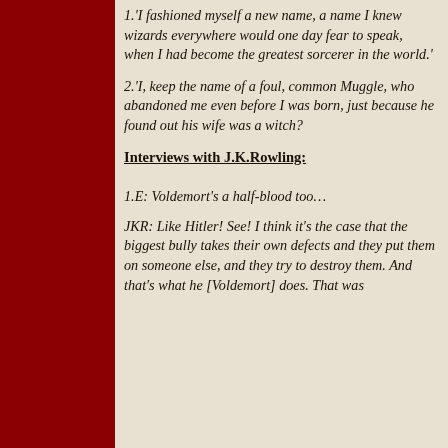1.'I fashioned myself a new name, a name I knew wizards everywhere would one day fear to speak, when I had become the greatest sorcerer in the world.'
2.'I, keep the name of a foul, common Muggle, who abandoned me even before I was born, just because he found out his wife was a witch?
Interviews with J.K.Rowling:
1.E: Voldemort's a half-blood too…
JKR: Like Hitler! See! I think it's the case that the biggest bully takes their own defects and they put them on someone else, and they try to destroy them. And that's what he [Voldemort] does. That was